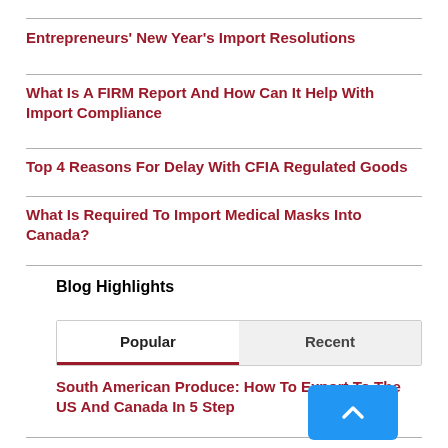Entrepreneurs' New Year's Import Resolutions
What Is A FIRM Report And How Can It Help With Import Compliance
Top 4 Reasons For Delay With CFIA Regulated Goods
What Is Required To Import Medical Masks Into Canada?
Blog Highlights
Popular | Recent
South American Produce: How To Export To The US And Canada In 5 Step...